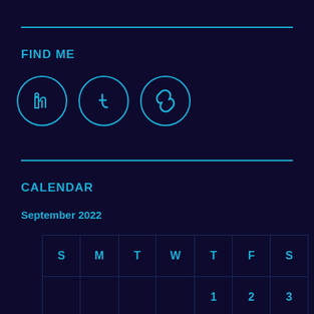FIND ME
[Figure (infographic): Three circular social media icons in cyan outline: LinkedIn, Tumblr, and a link/chain icon]
CALENDAR
September 2022
| S | M | T | W | T | F | S |
| --- | --- | --- | --- | --- | --- | --- |
|  |  |  |  | 1 | 2 | 3 |